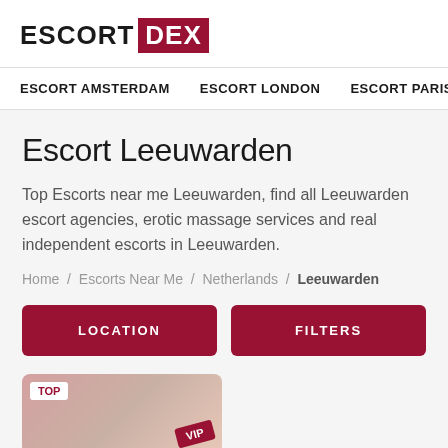ESCORT DEX
ESCORT AMSTERDAM   ESCORT LONDON   ESCORT PARIS
Escort Leeuwarden
Top Escorts near me Leeuwarden, find all Leeuwarden escort agencies, erotic massage services and real independent escorts in Leeuwarden.
Home / Escorts Near Me / Netherlands / Leeuwarden
LOCATION
FILTERS
[Figure (photo): Partial thumbnail image of an escort listing card with TOP and VIP badges]